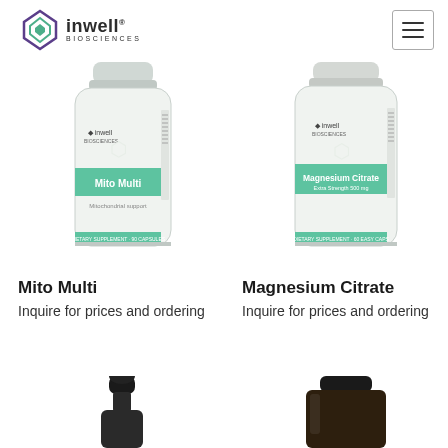Related products
[Figure (logo): inwell BIOSCIENCES logo with hexagonal diamond icon in purple and green]
[Figure (photo): Inwell Biosciences Mito Multi supplement bottle - white bottle with green label]
[Figure (photo): Inwell Biosciences Magnesium Citrate supplement bottle - white bottle with green label, Extra Strength 500mg]
Mito Multi
Inquire for prices and ordering
Magnesium Citrate
Inquire for prices and ordering
[Figure (photo): Dark dropper bottle (partial, bottom of page)]
[Figure (photo): Dark amber supplement bottle (partial, bottom of page)]